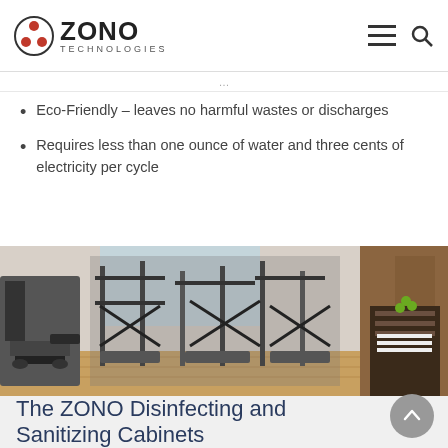ZONO TECHNOLOGIES
Eco-Friendly – leaves no harmful wastes or discharges
Requires less than one ounce of water and three cents of electricity per cycle
[Figure (photo): Gym interior with exercise equipment including treadmills and weight machines on a wooden floor]
The ZONO Disinfecting and Sanitizing Cabinets